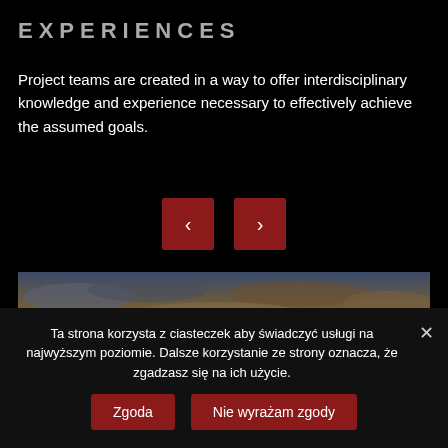EXPERIENCES
Project teams are created in a way to offer interdisciplinary knowledge and experience necessary to effectively achieve the assumed goals.
[Figure (other): Navigation buttons: left arrow and right arrow on dark red square backgrounds]
[Figure (photo): Wide panoramic photo of a dramatic sunset sky with orange and golden clouds and a bright sun low on the horizon]
Ta strona korzysta z ciasteczek aby świadczyć usługi na najwyższym poziomie. Dalsze korzystanie ze strony oznacza, że zgadzasz się na ich użycie.
Zgoda
Nie wyrażam zgody